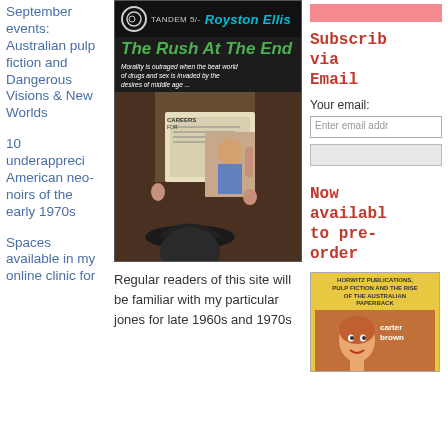September events: Australian pulp fiction and Dangerous Visions & New Worlds
10 underappreciated American neo-noirs of the early 1970s
Spaces available in my online clinic for
[Figure (photo): Book cover of 'The Rush At The End' by Royston Ellis, published by Tandem. Shows a man in a bowler hat reading a magazine on what appears to be public transport. Text reads: 'Morality is outraged when the beat world of drugs and sex is invaded by the desires of middle age']
Regular readers of this site will be familiar with my particular jones for late 1960s and 1970s
Subscribe via Email
Your email:
Enter email addr
Now available to pre-order
[Figure (photo): Small book cover thumbnail showing a Carter Brown book with title text 'Horwitz Publications, Pulp Fiction and the Rise of the Australian Paperback']